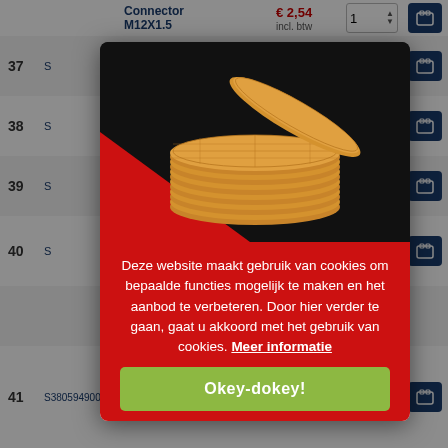| # | Code | Name | Price | Qty | Cart |
| --- | --- | --- | --- | --- | --- |
|  |  | Connector M12X1.5 | € 2,54 incl. btw | 1 |  |
| 37 | S... |  |  | 1 |  |
| 38 | S... |  |  | 1 |  |
| 39 | S... |  |  | 1 |  |
| 40 | S... | M25X1.5 Grey | € 5,24 incl. btw | 1 |  |
| 41 | S380594900A | Nut For Hose Connector | € 0,29 excl. btw / € 0,35 | 1 |  |
[Figure (screenshot): Cookie consent modal popup with stroopwafel image on dark background, red body with Dutch cookie notice text, green Okey-dokey button]
Deze website maakt gebruik van cookies om bepaalde functies mogelijk te maken en het aanbod te verbeteren. Door hier verder te gaan, gaat u akkoord met het gebruik van cookies. Meer informatie
Okey-dokey!